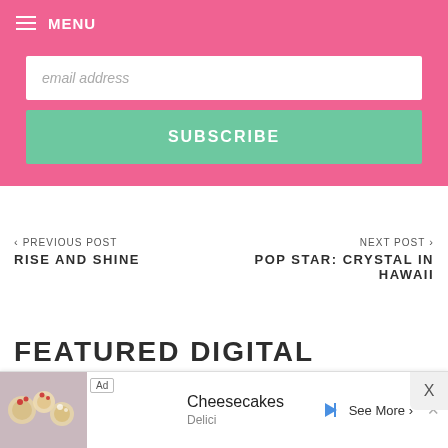MENU
email address
SUBSCRIBE
< PREVIOUS POST
RISE AND SHINE
NEXT POST >
POP STAR: CRYSTAL IN HAWAII
FEATURED DIGITAL CIRCULAR DEALS
[Figure (screenshot): Advertisement banner showing cheesecakes with text 'Cheesecakes', 'Delici', 'See More' button, and play/close icons]